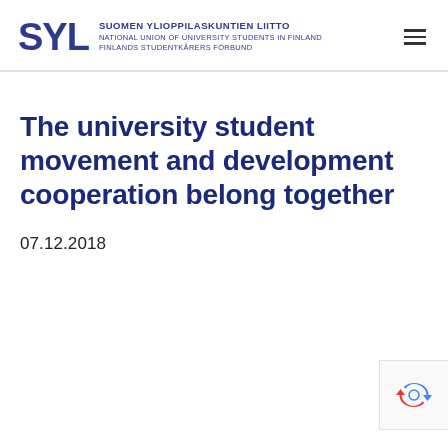SYL — SUOMEN YLIOPPILASKUNTIEN LIITTO
NATIONAL UNION OF UNIVERSITY STUDENTS IN FINLAND
FINLANDS STUDENTKÅRERS FÖRBUND
The university student movement and development cooperation belong together
07.12.2018